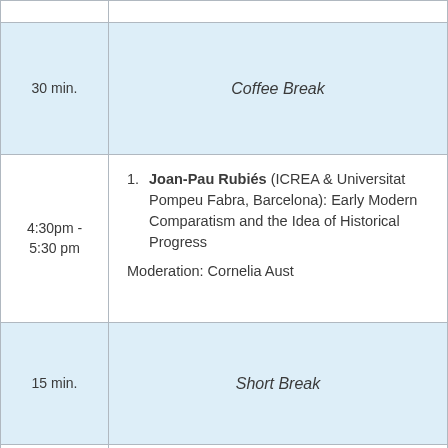| Time | Content |
| --- | --- |
|  |  |
| 30 min. | Coffee Break |
| 4:30pm - 5:30 pm | 1. Joan-Pau Rubiés (ICREA & Universitat Pompeu Fabra, Barcelona): Early Modern Comparatism and the Idea of Historical Progress
Moderation: Cornelia Aust |
| 15 min. | Short Break |
|  |  |